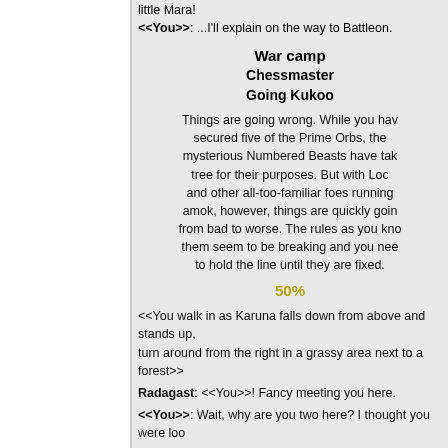little Mara!
<<You>>: ...I'll explain on the way to Battleon.
War camp
Chessmaster
Going Kukoo
Things are going wrong. While you have secured five of the Prime Orbs, the mysterious Numbered Beasts have taken tree for their purposes. But with Loco and other all-too-familiar foes running amok, however, things are quickly going from bad to worse. The rules as you know them seem to be breaking and you need to hold the line until they are fixed.
50%
<<You walk in as Karuna falls down from above and stands up, turn around from the right in a grassy area next to a forest>>
Radagast: <<You>>! Fancy meeting you here.
<<You>>: Wait, why are you two here? I thought you were looking...
Radagast: We were. And then we found them. And they're here.
<<You>>: "Them"? There's more than one?
Radagast: Well...
<<A flying Ku on the left faces a Ku with wyvern wings and a K...
Ku #1: Ku?
Ku #2: Ku
Ku #3: Kuchoo!
Ku #2: Ku ku!
<<Returns to You, Karuna, Radagast and Shii>>
Radagast: So, there's a bit of good news and bad news there...